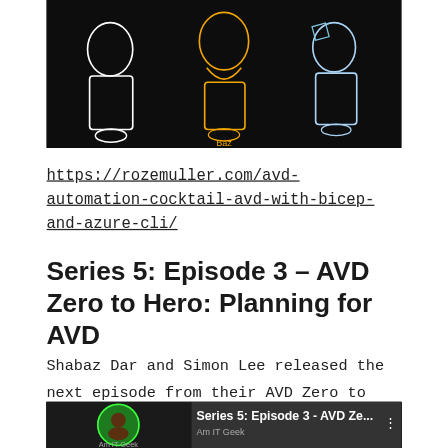[Figure (screenshot): Dark background image with illustrated characters/icons in outline style, appears to be a podcast or tech show banner]
https://rozemuller.com/avd-automation-cocktail-avd-with-bicep-and-azure-cli/
Series 5: Episode 3 – AVD Zero to Hero: Planning for AVD
Shabaz Dar and Simon Lee released the next episode from their AVD Zero to Hero series. This time they cover "Planning AVD Deployments".
[Figure (screenshot): YouTube video thumbnail showing Series 5: Episode 3 - AVD Ze... with channel icon and three-dot menu]